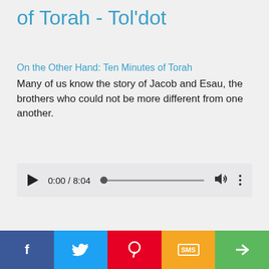of Torah - Tol'dot
On the Other Hand: Ten Minutes of Torah
Many of us know the story of Jacob and Esau, the brothers who could not be more different from one another.
[Figure (other): Audio player showing 0:00 / 8:04 with play button, progress bar, volume icon, and more options icon]
Stories We Tell: Chiribim and Chiribam
Stories We Tell
[Figure (other): Social share bar with Facebook, Twitter, Pinterest, SMS, and share buttons]